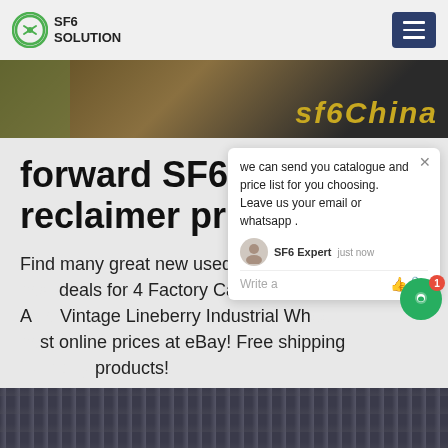SF6 SOLUTION
[Figure (screenshot): Banner image strip with dark background and 'sf6China' text overlay in gold/orange italic]
forward SF6 dolly reclaimer price
Find many great new used options and best deals for 4 Factory Cart Wheels 2 A Vintage Lineberry Industrial Wh best online prices at eBay! Free shipping many products!
Get Price
[Figure (screenshot): Chat popup widget with message: we can send you catalogue and price list for you choosing. Leave us your email or whatsapp . SF6 Expert just now. Write a message field with thumbs up and attachment icons.]
[Figure (screenshot): Bottom portion showing power transmission tower infrastructure photo]